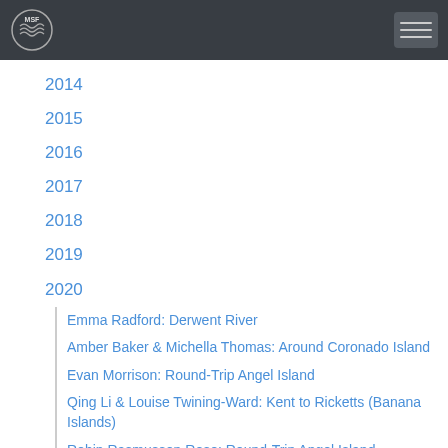MSF
2014
2015
2016
2017
2018
2019
2020
Emma Radford: Derwent River
Amber Baker & Michella Thomas: Around Coronado Island
Evan Morrison: Round-Trip Angel Island
Qing Li & Louise Twining-Ward: Kent to Ricketts (Banana Islands)
Robin Rasmussen Rose: Round-Trip Angel Island
Jessi Harewicz: Around Pasley Island
Neil Agius: Malta Channel
Cheryl Coletti-Lawson: Newfound Lake